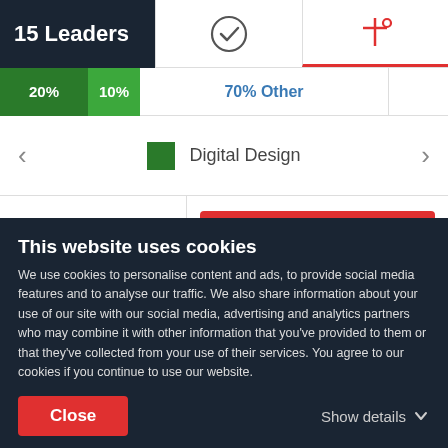15 Leaders
[Figure (infographic): Progress bar showing 20% dark green, 10% light green, and 70% Other in blue text]
Digital Design
[Figure (infographic): Radio button icon on left, Visit Website red button on right with globe icon]
This website uses cookies
We use cookies to personalise content and ads, to provide social media features and to analyse our traffic. We also share information about your use of our site with our social media, advertising and analytics partners who may combine it with other information that you've provided to them or that they've collected from your use of their services. You agree to our cookies if you continue to use our website.
Close
Show details